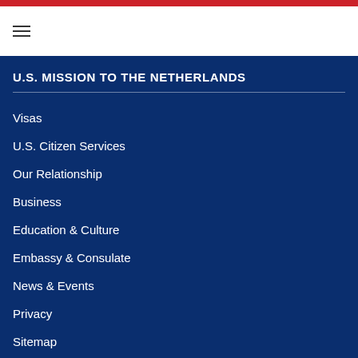U.S. MISSION TO THE NETHERLANDS
Visas
U.S. Citizen Services
Our Relationship
Business
Education & Culture
Embassy & Consulate
News & Events
Privacy
Sitemap
U.S. EMBASSY